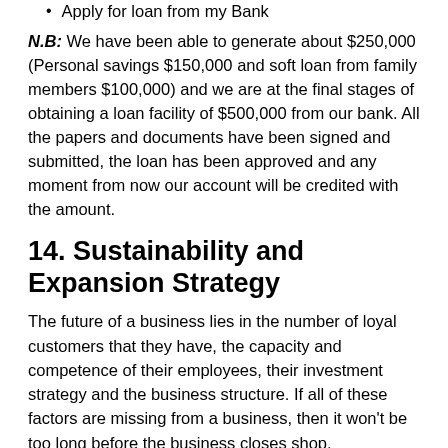Apply for loan from my Bank
N.B: We have been able to generate about $250,000 (Personal savings $150,000 and soft loan from family members $100,000) and we are at the final stages of obtaining a loan facility of $500,000 from our bank. All the papers and documents have been signed and submitted, the loan has been approved and any moment from now our account will be credited with the amount.
14. Sustainability and Expansion Strategy
The future of a business lies in the number of loyal customers that they have, the capacity and competence of their employees, their investment strategy and the business structure. If all of these factors are missing from a business, then it won't be too long before the business closes shop.
One of our major goals of starting Frank Tyson® Commercial Farm Settlement, Inc. is to build a business that will survive off its own cash flow without the need for injecting finance from external sources once the business is officially open.